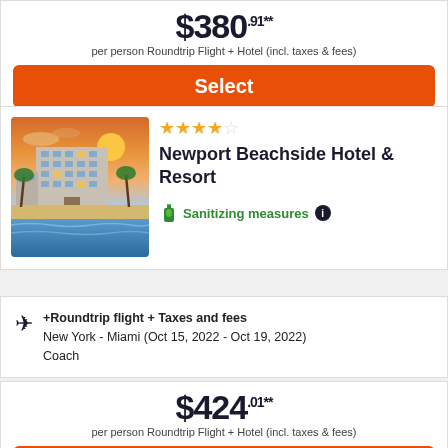$380.91** per person Roundtrip Flight + Hotel (incl. taxes & fees)
Select
Newport Beachside Hotel & Resort
[Figure (photo): Exterior photo of Newport Beachside Hotel & Resort at sunset with beach and palm trees]
Sanitizing measures
+Roundtrip flight + Taxes and fees
New York - Miami (Oct 15, 2022 - Oct 19, 2022)
Coach
$424.01** per person Roundtrip Flight + Hotel (incl. taxes & fees)
Select